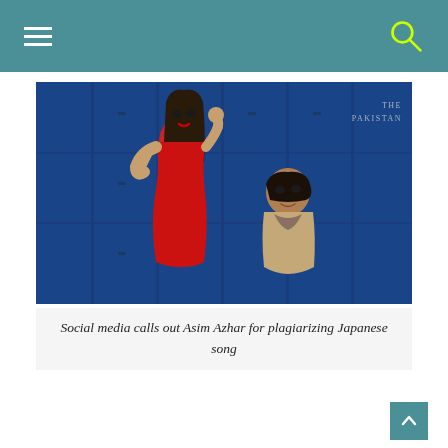Navigation bar with hamburger menu and search icon
[Figure (photo): Two people posing in front of a blue door/wall. A woman in a red dress stands behind a man who is seated/leaning. The woman has long dark hair and red lipstick. A watermark reading 'THE PAKISTAN' appears in the top right corner of the photo.]
Social media calls out Asim Azhar for plagiarizing Japanese song
Singer Asim Azhar's celebration's on reaching 100 million views on his song "Jo Tu Na Mila Mujhey" were cut short